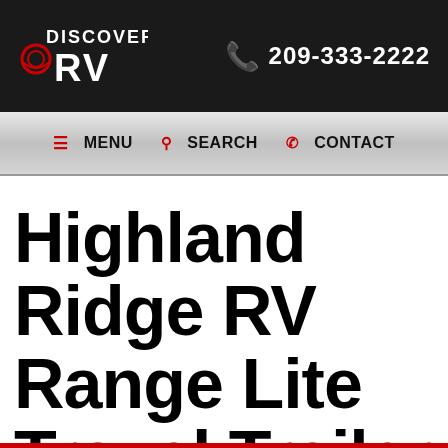Discover RV | 209-333-2222
≡ MENU  🔍 SEARCH  📞 CONTACT
Highland Ridge RV Range Lite Travel Trailer RVs For Sale